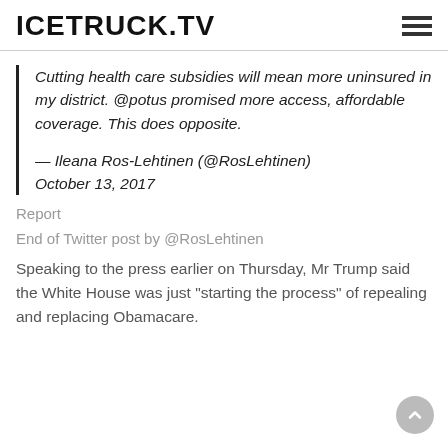ICETRUCK.TV
Cutting health care subsidies will mean more uninsured in my district. @potus promised more access, affordable coverage. This does opposite.

— Ileana Ros-Lehtinen (@RosLehtinen) October 13, 2017
Report
End of Twitter post by @RosLehtinen
Speaking to the press earlier on Thursday, Mr Trump said the White House was just "starting the process" of repealing and replacing Obamacare.